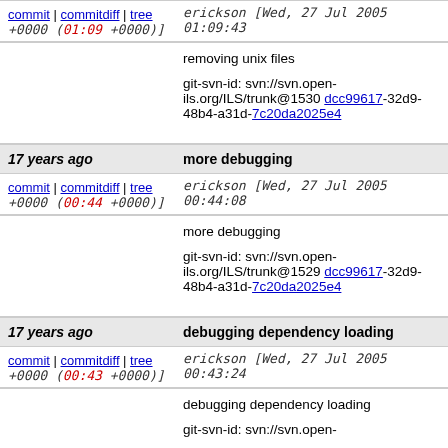commit | commitdiff | tree  erickson [Wed, 27 Jul 2005 01:09:43 +0000 (01:09 +0000)]
removing unix files

git-svn-id: svn://svn.open-ils.org/ILS/trunk@1530 dcc99617-32d9-48b4-a31d-7c20da2025e4
17 years ago   more debugging
commit | commitdiff | tree  erickson [Wed, 27 Jul 2005 00:44:08 +0000 (00:44 +0000)]
more debugging

git-svn-id: svn://svn.open-ils.org/ILS/trunk@1529 dcc99617-32d9-48b4-a31d-7c20da2025e4
17 years ago   debugging dependency loading
commit | commitdiff | tree  erickson [Wed, 27 Jul 2005 00:43:24 +0000 (00:43 +0000)]
debugging dependency loading

git-svn-id: svn://svn.open-